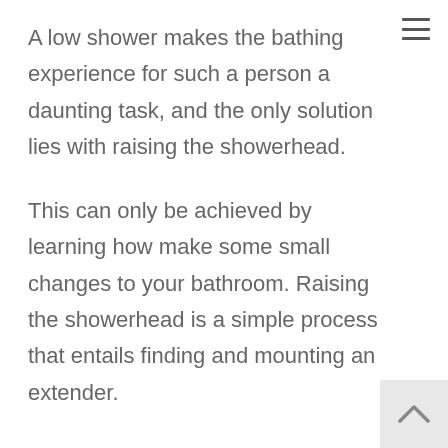A low shower makes the bathing experience for such a person a daunting task, and the only solution lies with raising the showerhead.
This can only be achieved by learning how make some small changes to your bathroom. Raising the showerhead is a simple process that entails finding and mounting an extender.
A shower head extender is a pipe fitted between the socket and the showerhead